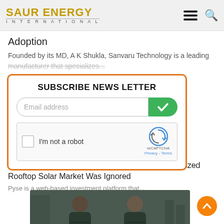SAUR ENERGY INTERNATIONAL
Adoption
Founded by its MD, A K Shukla, Sanvaru Technology is a leading manufacturer that specializes...
[Figure (screenshot): Subscribe News Letter popup with email input field, green checkmark submit button, and reCAPTCHA checkbox]
Shocking To See How The Small-Scale, Decentralized Rooftop Solar Market Was Ignored
Pyse is a web-based investment platform that...
[Figure (photo): Two men in dark uniforms posing for a photo outdoors]